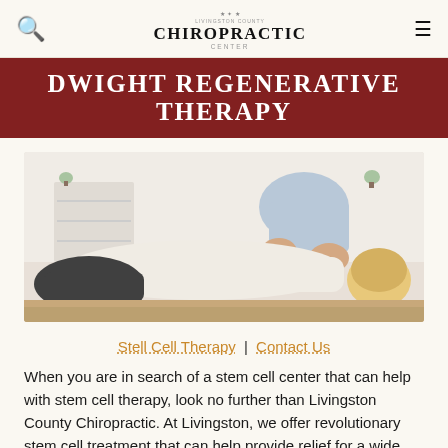Livingston County Chiropractic Center
Dwight Regenerative Therapy
[Figure (photo): A chiropractor performing a spinal/back adjustment on a patient lying face down on a treatment table in a clinical setting.]
Stell Cell Therapy | Contact Us
When you are in search of a stem cell center that can help with stem cell therapy, look no further than Livingston County Chiropractic. At Livingston, we offer revolutionary stem cell treatment that can help provide relief for a wide